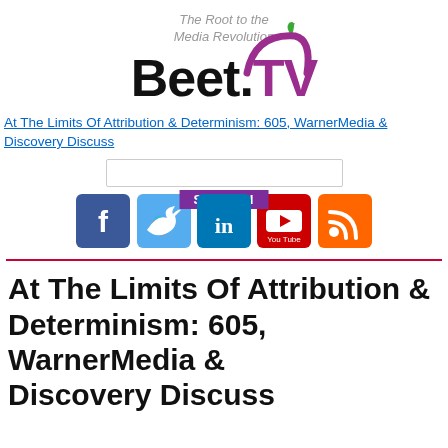[Figure (logo): Beet.TV logo with tagline 'The Root to the Media Revolution', stylized beet graphic with green leaf and purple arc]
At The Limits Of Attribution & Determinism: 605, WarnerMedia & Discovery Discuss
[Figure (other): Search bar input field]
[Figure (other): Social media icons: Facebook (blue), Twitter (light blue), LinkedIn (blue), YouTube (red), RSS (orange)]
At The Limits Of Attribution & Determinism: 605, WarnerMedia & Discovery Discuss